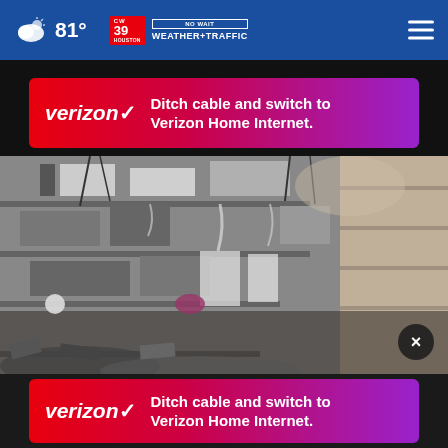81° CW39 HOUSTON NO WAIT WEATHER+TRAFFIC
[Figure (screenshot): Verizon advertisement banner: orange-to-purple gradient background with Verizon logo on left and text 'Ditch cable and switch to Verizon Home Internet.' on right]
[Figure (photo): Collapsed building rubble showing multiple exposed floors with debris, concrete, and personal belongings visible]
[Figure (screenshot): Second Verizon advertisement banner: orange-to-purple gradient background with Verizon logo on left and text 'Ditch cable and switch to Verizon Home Internet.' on right]